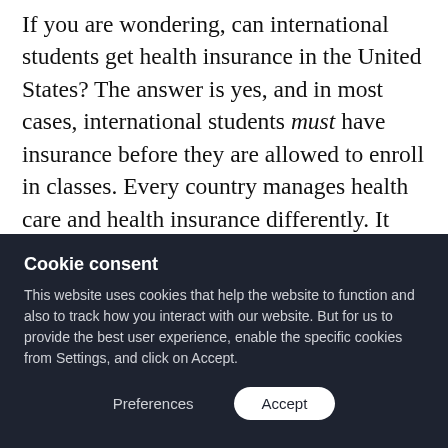If you are wondering, can international students get health insurance in the United States? The answer is yes, and in most cases, international students must have insurance before they are allowed to enroll in classes. Every country manages health care and health insurance differently. It can be difficult for international students (and all students) to figure out exactly what they need and how to use it as they transition to campus life in the USA. The US
Cookie consent
This website uses cookies that help the website to function and also to track how you interact with our website. But for us to provide the best user experience, enable the specific cookies from Settings, and click on Accept.